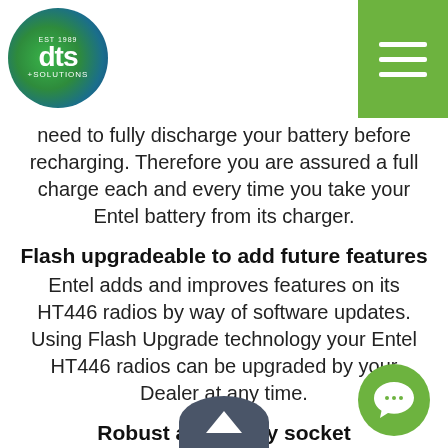DTS Solutions logo and navigation menu
need to fully discharge your battery before recharging. Therefore you are assured a full charge each and every time you take your Entel battery from its charger.
Flash upgradeable to add future features
Entel adds and improves features on its HT446 radios by way of software updates. Using Flash Upgrade technology your Entel HT446 radios can be upgraded by your Dealer at any time.
Robust accessory socket
When an accessory is secured to the portable, the plug / socket has been designed to withstand any amount of punishment from dropping to careless misuse.